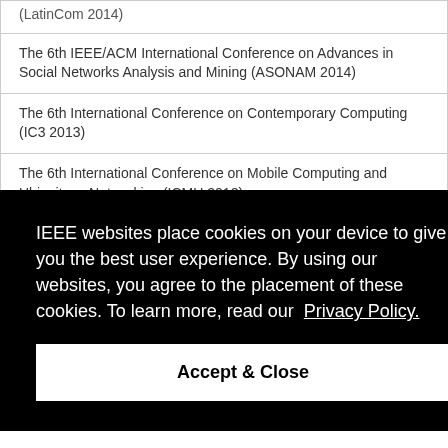(LatinCom 2014)
The 6th IEEE/ACM International Conference on Advances in Social Networks Analysis and Mining (ASONAM 2014)
The 6th International Conference on Contemporary Computing (IC3 2013)
The 6th International Conference on Mobile Computing and Ubiquitous Networking (ICMU 2012)
IEEE websites place cookies on your device to give you the best user experience. By using our websites, you agree to the placement of these cookies. To learn more, read our Privacy Policy.
Accept & Close